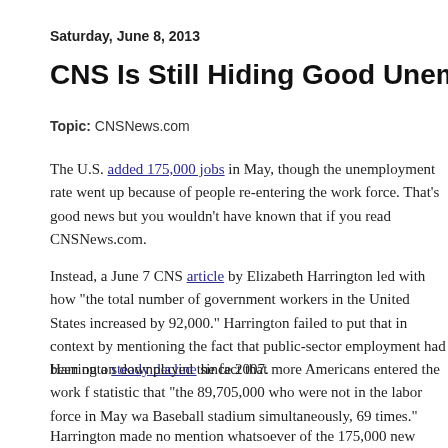Saturday, June 8, 2013
CNS Is Still Hiding Good Unemployment Ne...
Topic: CNSNews.com
The U.S. added 175,000 jobs in May, though the unemployment rate went up because of people re-entering the work force. That's good news but you wouldn't have known that if you read CNSNews.com.
Instead, a June 7 CNS article by Elizabeth Harrington led with how "the total number of government workers in the United States increased by 92,000." Harrington failed to put that in context by mentioning the fact that public-sector employment had been on a steady decline since 2007.
Harrington downplayed the fact that more Americans entered the work f... statistic that "the 89,705,000 who were not in the labor force in May wa... Baseball stadium simultaneously, 69 times."
Harrington made no mention whatsoever of the 175,000 new private-sec...